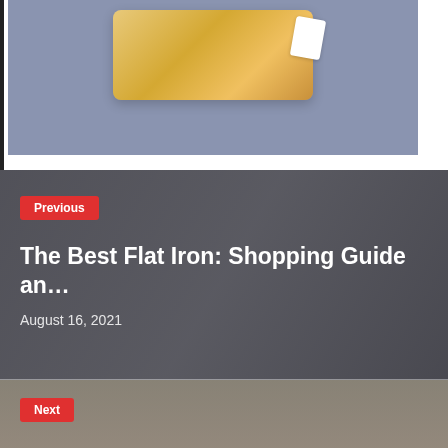[Figure (photo): Product photo of a honey/bee themed item on a blue-grey background, partially visible at top of page]
[Figure (photo): Background photo of flat iron hair styling tool with magazine, overlaid with dark semi-transparent overlay]
Previous
The Best Flat Iron: Shopping Guide an…
August 16, 2021
[Figure (photo): Background photo partially visible, showing person outdoors in muted tones]
Next